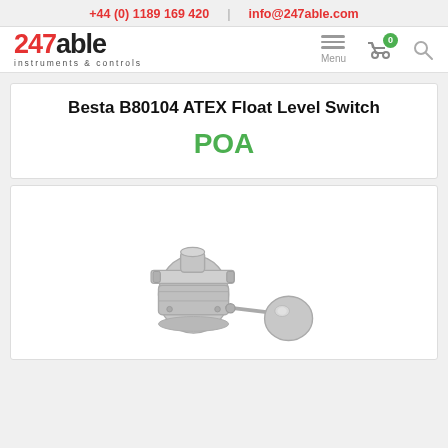+44 (0) 1189 169 420  |  info@247able.com
[Figure (logo): 247able instruments & controls logo with red 247 and black 'able' text, tagline 'instruments & controls']
Besta B80104 ATEX Float Level Switch
POA
[Figure (photo): Besta B80104 ATEX Float Level Switch - stainless steel housing with flange mount and spherical float ball attached via arm]